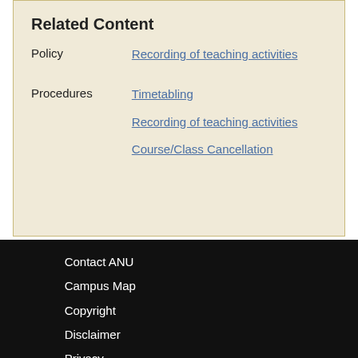Related Content
|  |  |
| --- | --- |
| Policy | Recording of teaching activities |
| Procedures | Timetabling
Recording of teaching activities
Course/Class Cancellation |
Contact ANU
Campus Map
Copyright
Disclaimer
Privacy